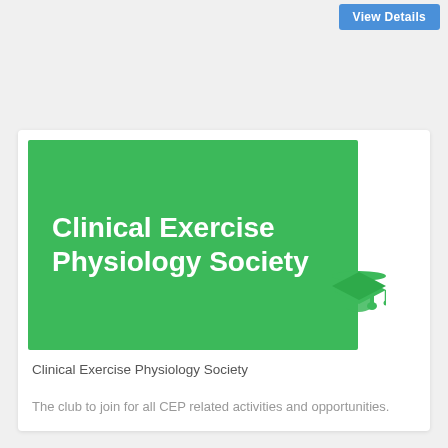[Figure (screenshot): View Details button — blue rectangle with white text]
[Figure (illustration): Green banner image with white bold text reading 'Clinical Exercise Physiology Society' and a green graduation cap icon to the right]
Clinical Exercise Physiology Society
The club to join for all CEP related activities and opportunities.